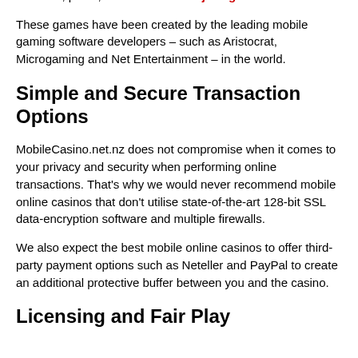hundreds of exciting pokies and table games like craps, baccarat, poker, roulette and blackjack games.
These games have been created by the leading mobile gaming software developers – such as Aristocrat, Microgaming and Net Entertainment – in the world.
Simple and Secure Transaction Options
MobileCasino.net.nz does not compromise when it comes to your privacy and security when performing online transactions. That's why we would never recommend mobile online casinos that don't utilise state-of-the-art 128-bit SSL data-encryption software and multiple firewalls.
We also expect the best mobile online casinos to offer third-party payment options such as Neteller and PayPal to create an additional protective buffer between you and the casino.
Licensing and Fair Play